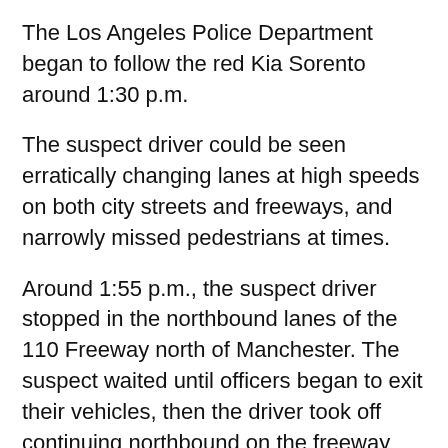The Los Angeles Police Department began to follow the red Kia Sorento around 1:30 p.m.
The suspect driver could be seen erratically changing lanes at high speeds on both city streets and freeways, and narrowly missed pedestrians at times.
Around 1:55 p.m., the suspect driver stopped in the northbound lanes of the 110 Freeway north of Manchester. The suspect waited until officers began to exit their vehicles, then the driver took off continuing northbound on the freeway toward the downtown area and the pursuit continued.
Eventually, the pursuit suspect exited the 110 Freeway in South Los Angeles and began weaving through local streets.
The suspect...